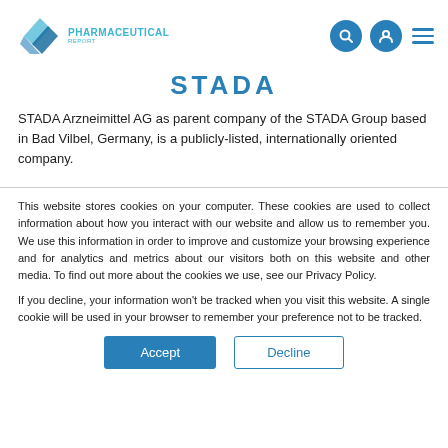[Figure (logo): Pharmaceutical Report logo with teal/blue geometric diamond shape and text PHARMACEUTICAL REPORT]
STADA
STADA Arzneimittel AG as parent company of the STADA Group based in Bad Vilbel, Germany, is a publicly-listed, internationally oriented company.
This website stores cookies on your computer. These cookies are used to collect information about how you interact with our website and allow us to remember you. We use this information in order to improve and customize your browsing experience and for analytics and metrics about our visitors both on this website and other media. To find out more about the cookies we use, see our Privacy Policy.
If you decline, your information won’t be tracked when you visit this website. A single cookie will be used in your browser to remember your preference not to be tracked.